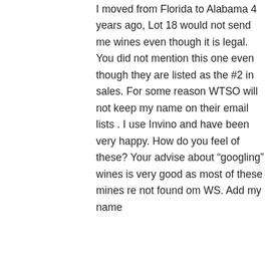I moved from Florida to Alabama 4 years ago, Lot 18 would not send me wines even though it is legal. You did not mention this one even though they are listed as the #2 in sales. For some reason WTSO will not keep my name on their email lists . I use Invino and have been very happy. How do you feel of these? Your advise about “googling” wines is very good as most of these mines re not found om WS. Add my name
★ Like
↳ Reply
the drunken cyclist on December 7, 2016 at 07:12
Thanks for stopping by! Yes, I have heard great...